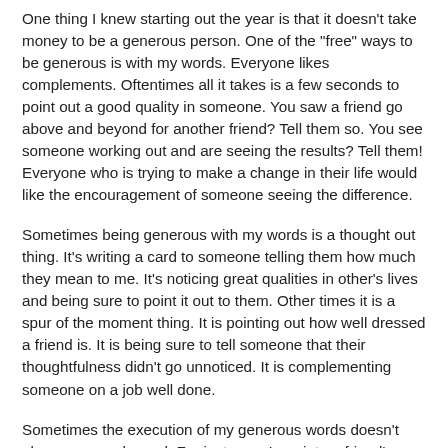One thing I knew starting out the year is that it doesn't take money to be a generous person. One of the "free" ways to be generous is with my words. Everyone likes complements. Oftentimes all it takes is a few seconds to point out a good quality in someone. You saw a friend go above and beyond for another friend? Tell them so. You see someone working out and are seeing the results? Tell them! Everyone who is trying to make a change in their life would like the encouragement of someone seeing the difference.
Sometimes being generous with my words is a thought out thing. It's writing a card to someone telling them how much they mean to me. It's noticing great qualities in other's lives and being sure to point it out to them. Other times it is a spur of the moment thing. It is pointing out how well dressed a friend is. It is being sure to tell someone that their thoughtfulness didn't go unnoticed. It is complementing someone on a job well done.
Sometimes the execution of my generous words doesn't always go as planned. For instance, I ran into a friend's mom in the grocery store and told her she had a "banging body that anyone my age